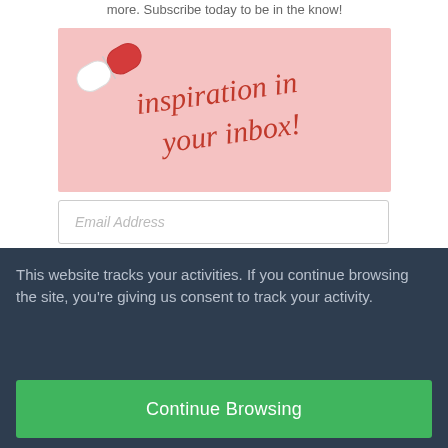more. Subscribe today to be in the know!
[Figure (illustration): Pink banner with a pill/capsule illustration and cursive text reading 'inspiration in your inbox!']
Email Address
Get Instant Access
This website tracks your activities. If you continue browsing the site, you're giving us consent to track your activity.
Continue Browsing